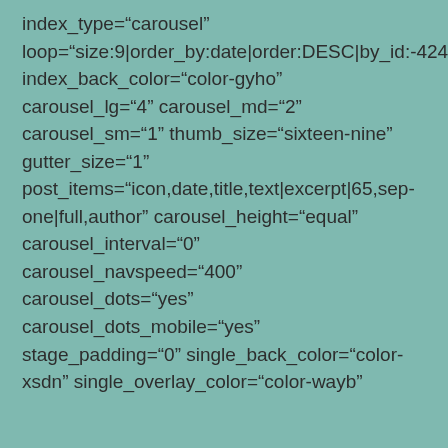index_type="carousel" loop="size:9|order_by:date|order:DESC|by_id:-4245" index_back_color="color-gyho" carousel_lg="4" carousel_md="2" carousel_sm="1" thumb_size="sixteen-nine" gutter_size="1" post_items="icon,date,title,text|excerpt|65,sep-one|full,author" carousel_height="equal" carousel_interval="0" carousel_navspeed="400" carousel_dots="yes" carousel_dots_mobile="yes" stage_padding="0" single_back_color="color-xsdn" single_overlay_color="color-wayb"